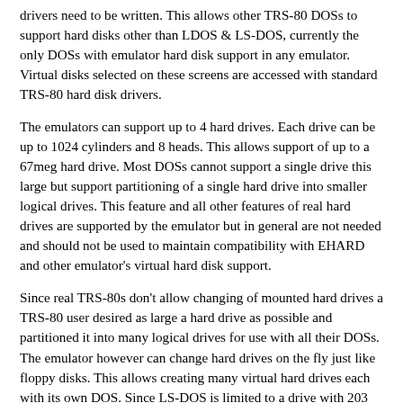drivers need to be written. This allows other TRS-80 DOSs to support hard disks other than LDOS & LS-DOS, currently the only DOSs with emulator hard disk support in any emulator. Virtual disks selected on these screens are accessed with standard TRS-80 hard disk drivers.
The emulators can support up to 4 hard drives. Each drive can be up to 1024 cylinders and 8 heads. This allows support of up to a 67meg hard drive. Most DOSs cannot support a single drive this large but support partitioning of a single hard drive into smaller logical drives. This feature and all other features of real hard drives are supported by the emulator but in general are not needed and should not be used to maintain compatibility with EHARD and other emulator's virtual hard disk support.
Since real TRS-80s don't allow changing of mounted hard drives a TRS-80 user desired as large a hard drive as possible and partitioned it into many logical drives for use with all their DOSs. The emulator however can change hard drives on the fly just like floppy disks. This allows creating many virtual hard drives each with its own DOS. Since LS-DOS is limited to a drive with 203 cylinders & 8 heads (or 406 cylinders and 4 heads) an LS-DOS virtual drive should not be created larger than this maximum. Further, since LS-DOS can only store 254 files on a hard drive, and it is doubtful that 254 files would require 15megs of space, smaller hard drives would probably be more desirable.